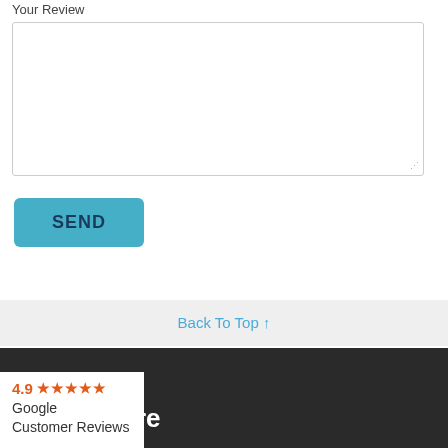Your Review
[Figure (screenshot): Empty text area input box for user review submission]
SEND
Back To Top ↑
[Figure (other): Dark footer section]
4.9 ★★★★★ Google Customer Reviews